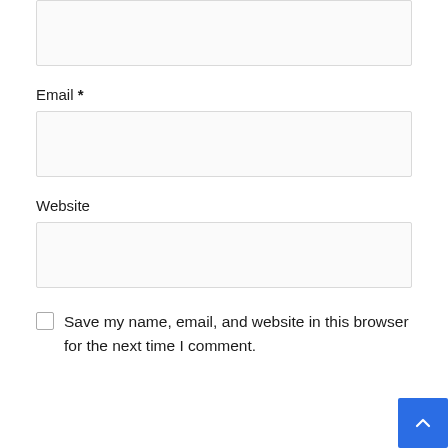(input field — top, partially visible)
Email *
(email input field)
Website
(website input field)
Save my name, email, and website in this browser for the next time I comment.